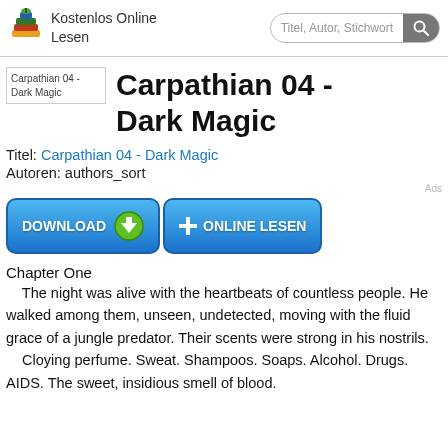Kostenlos Online Lesen | Titel, Autor, Stichwort
[Figure (illustration): Book cover placeholder image labeled 'Carpathian 04 - Dark Magic']
Carpathian 04 - Dark Magic
Titel: Carpathian 04 - Dark Magic
Autoren: authors_sort
[Figure (other): Two blue buttons: DOWNLOAD (with green download icon) and ONLINE LESEN (with plus icon)]
Chapter One
The night was alive with the heartbeats of countless people. He walked among them, unseen, undetected, moving with the fluid grace of a jungle predator. Their scents were strong in his nostrils.
    Cloying perfume. Sweat. Shampoos. Soaps. Alcohol. Drugs. AIDS. The sweet, insidious smell of blood.